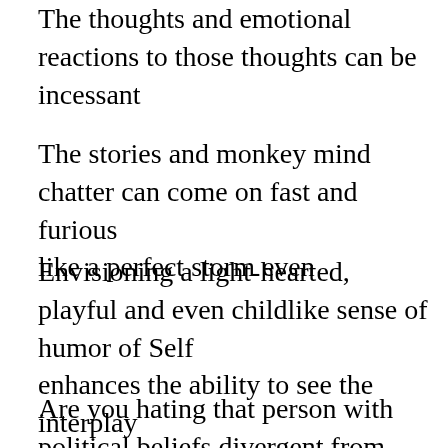The thoughts and emotional reactions to those thoughts can be incessant
The stories and monkey mind chatter can come on fast and furious
like a perfect storm even
Envisioning a light-hearted, playful and even childlike sense of humor of Self
enhances the ability to see the interplay
between wisdom and folly as comedic theater
Are you hating that person with political beliefs divergent from yours?